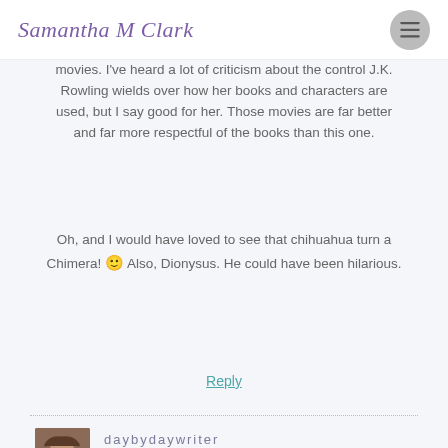Samantha M Clark
movies. I've heard a lot of criticism about the control J.K. Rowling wields over how her books and characters are used, but I say good for her. Those movies are far better and far more respectful of the books than this one.
Oh, and I would have loved to see that chihuahua turn a Chimera! 🙂 Also, Dionysus. He could have been hilarious.
Reply
daybydaywriter
February 15, 2010 at 8:09 am